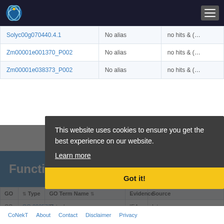CoNekT navigation bar with logo
| Gene ID | Alias | Description |
| --- | --- | --- |
| Solyc00g070440.4.1 | No alias | no hits & (… |
| Zm00001e001370_P002 | No alias | no hits & (… |
| Zm00001e038373_P002 | No alias | no hits & (… |
Functional Annotation
| GO | Type | GO Term Name | Evidence | Source |
| --- | --- | --- | --- | --- |
| CC | GO:0005737 | Cytoplasm | IEA | Interpros… |
This website uses cookies to ensure you get the best experience on our website.
Learn more
Got it!
CoNekT  About  Contact  Disclaimer  Privacy policy